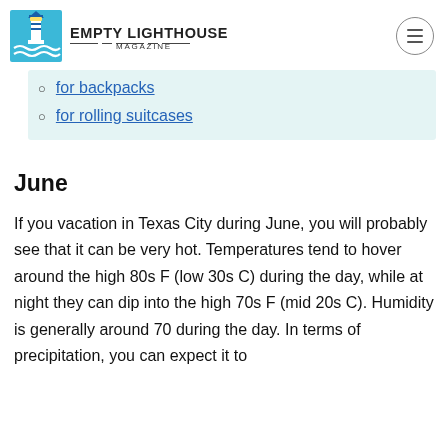EMPTY LIGHTHOUSE MAGAZINE
for backpacks
for rolling suitcases
June
If you vacation in Texas City during June, you will probably see that it can be very hot. Temperatures tend to hover around the high 80s F (low 30s C) during the day, while at night they can dip into the high 70s F (mid 20s C). Humidity is generally around 70 during the day. In terms of precipitation, you can expect it to